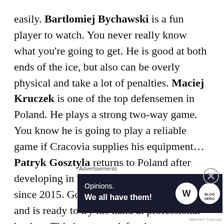easily. Bartlomiej Bychawski is a fun player to watch. You never really know what you're going to get. He is good at both ends of the ice, but also can be overly physical and take a lot of penalties. Maciej Kruczek is one of the top defensemen in Poland. He plays a strong two-way game. You know he is going to play a reliable game if Cracovia supplies his equipment... Patryk Gosztyla returns to Poland after developing in the Slovak junior system since 2015. Gosztyla has polished his skills and is ready to try his hand at professional hockey. This is a great defensive
Advertisements
[Figure (other): Advertisement banner with text 'Opinions. We all have them!' and WordPress and another logo on dark background]